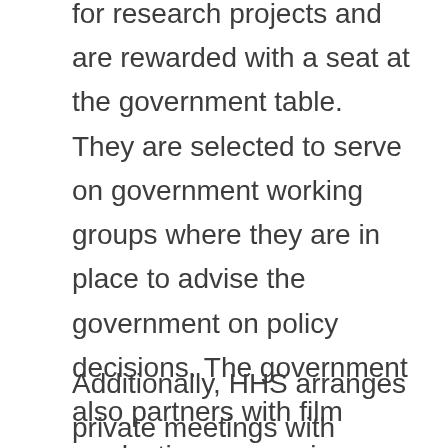for research projects and are rewarded with a seat at the government table. They are selected to serve on government working groups where they are in place to advise the government on policy decisions. The government also partners with film production companies or organizations to show screenings of their film.
Additionally, HHS arranges private meetings with these organizations where